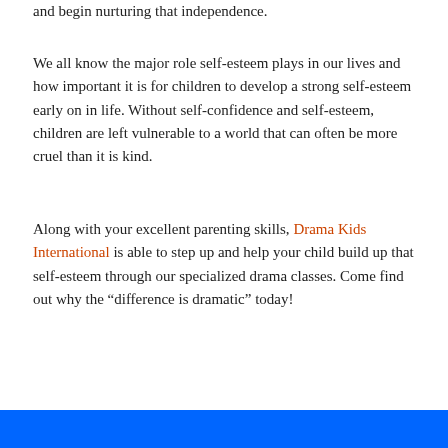and begin nurturing that independence.
We all know the major role self-esteem plays in our lives and how important it is for children to develop a strong self-esteem early on in life. Without self-confidence and self-esteem, children are left vulnerable to a world that can often be more cruel than it is kind.
Along with your excellent parenting skills, Drama Kids International is able to step up and help your child build up that self-esteem through our specialized drama classes. Come find out why the “difference is dramatic” today!